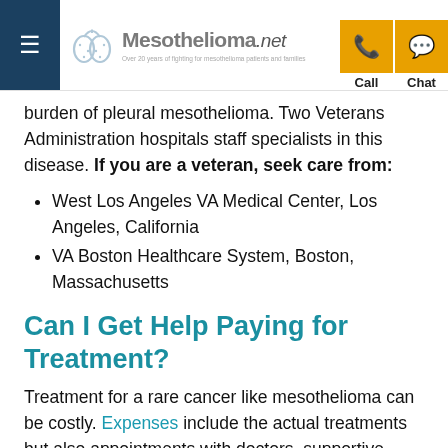Mesothelioma.net — Call | Chat
burden of pleural mesothelioma. Two Veterans Administration hospitals staff specialists in this disease. If you are a veteran, seek care from:
West Los Angeles VA Medical Center, Los Angeles, California
VA Boston Healthcare System, Boston, Massachusetts
Can I Get Help Paying for Treatment?
Treatment for a rare cancer like mesothelioma can be costly. Expenses include the actual treatments but also appointments with doctors, supportive care, therapy, travel, and more.